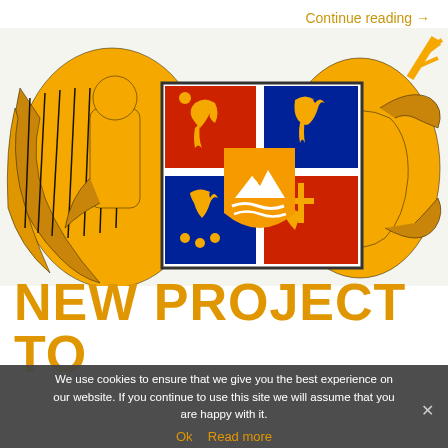Continue reading →
[Figure (illustration): Coat of arms of Armenia featuring golden eagle and lion supporters, central shield with quadrants showing lion, eagle, lion with cross, and eagle with flowers, central orange shield with mountain and water motifs, on dark background]
NEW PROJECT TO
We use cookies to ensure that we give you the best experience on our website. If you continue to use this site we will assume that you are happy with it.
Ok  Read more